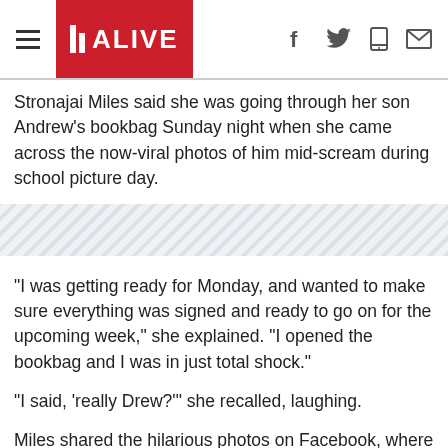11 ALIVE (logo with hamburger menu and social icons)
Stronajai Miles said she was going through her son Andrew's bookbag Sunday night when she came across the now-viral photos of him mid-scream during school picture day.
[Figure (other): Diagonal stripe decorative band]
"I was getting ready for Monday, and wanted to make sure everything was signed and ready to go on for the upcoming week," she explained. "I opened the bookbag and I was in just total shock."
"I said, 'really Drew?'" she recalled, laughing.
Miles shared the hilarious photos on Facebook, where the post has now gotten nearly 26,000 shares as of Monday night.